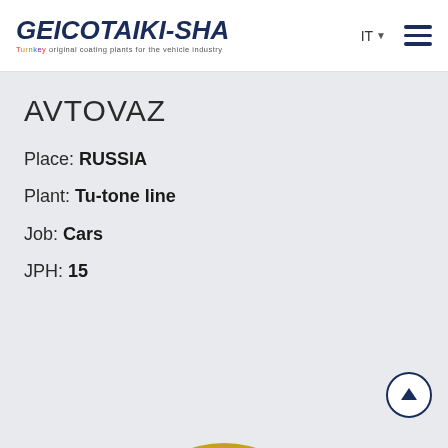GEICO TAIKI-SHA — Turnkey original coating plants for the vehicle industry | IT
AVTOVAZ
Place: RUSSIA
Plant: Tu-tone line
Job: Cars
JPH: 15
[Figure (logo): Partial Porsche logo visible at bottom center of page]